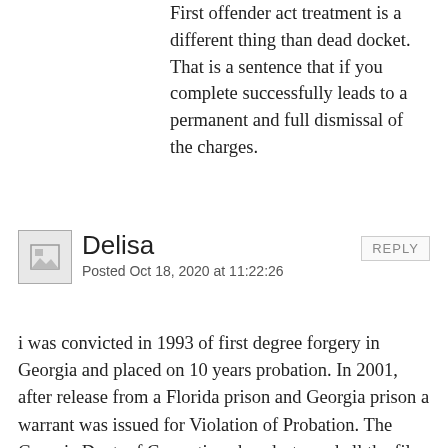First offender act treatment is a different thing than dead docket. That is a sentence that if you complete successfully leads to a permanent and full dismissal of the charges.
Delisa
Posted Oct 18, 2020 at 11:22:26
REPLY
[Figure (illustration): Placeholder avatar image icon]
i was convicted in 1993 of first degree forgery in Georgia and placed on 10 years probation. In 2001, after release from a Florida prison and Georgia prison a warrant was issued for Violation of Probation. The Georgia Dept. of Corrections has destroyed all the files related to my time served. The Clerk of Court does not have a record of me ever appearing for this Violation and being sent to prison. I was incarcerated in Florida Prison since 2001 and